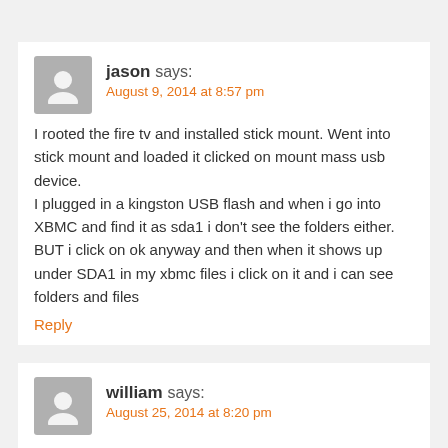jason says:
August 9, 2014 at 8:57 pm
I rooted the fire tv and installed stick mount. Went into stick mount and loaded it clicked on mount mass usb device.
I plugged in a kingston USB flash and when i go into XBMC and find it as sda1 i don't see the folders either. BUT i click on ok anyway and then when it shows up under SDA1 in my xbmc files i click on it and i can see folders and files
Reply
william says:
August 25, 2014 at 8:20 pm
I bought 3 Amazon Fire TV (2 for me and 1 for someone else) and rooted and installed all the same apps for each device. They